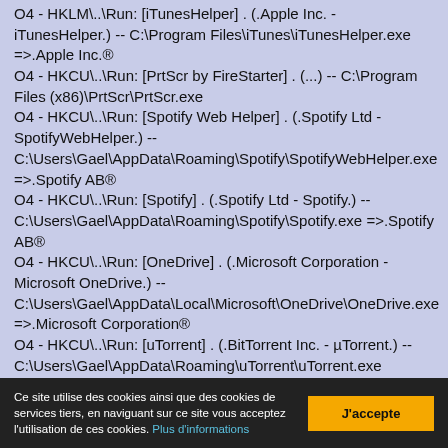O4 - HKLM\..\.Run: [iTunesHelper] . (.Apple Inc. - iTunesHelper.) -- C:\Program Files\iTunes\iTunesHelper.exe =>.Apple Inc.®
O4 - HKCU\..\.Run: [PrtScr by FireStarter] . (...) -- C:\Program Files (x86)\PrtScr\PrtScr.exe
O4 - HKCU\..\.Run: [Spotify Web Helper] . (.Spotify Ltd - SpotifyWebHelper.) -- C:\Users\Gael\AppData\Roaming\Spotify\SpotifyWebHelper.exe =>.Spotify AB®
O4 - HKCU\..\.Run: [Spotify] . (.Spotify Ltd - Spotify.) -- C:\Users\Gael\AppData\Roaming\Spotify\Spotify.exe =>.Spotify AB®
O4 - HKCU\..\.Run: [OneDrive] . (.Microsoft Corporation - Microsoft OneDrive.) -- C:\Users\Gael\AppData\Local\Microsoft\OneDrive\OneDrive.exe =>.Microsoft Corporation®
O4 - HKCU\..\.Run: [uTorrent] . (.BitTorrent Inc. - µTorrent.) -- C:\Users\Gael\AppData\Roaming\uTorrent\uTorrent.exe =>.BitTorrent Inc®
O4 - HKCU\..\Run: [World of Tanks]
Ce site utilise des cookies ainsi que des cookies de services tiers, en naviguant sur ce site vous acceptez l'utilisation de ces cookies. Plus d'informations